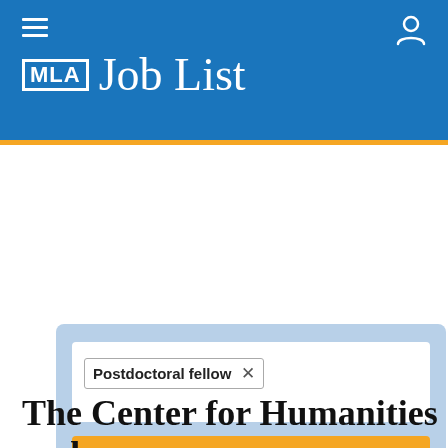MLA Job List
[Figure (screenshot): Search box with tag pill 'Postdoctoral fellow' and an orange Search button on a light blue panel]
< Back to results
The Center for Humanities and